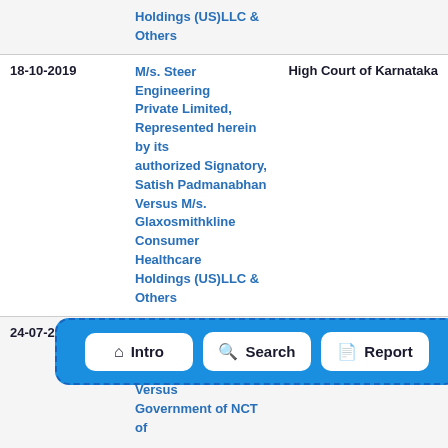| Date | Case | Court |
| --- | --- | --- |
|  | Holdings (US)LLC & Others |  |
| 18-10-2019 | M/s. Steer Engineering Private Limited, Represented herein by its authorized Signatory, Satish Padmanabhan Versus M/s. Glaxosmithkline Consumer Healthcare Holdings (US)LLC & Others | High Court of Karnataka |
| 24-07-2019 | Association of Healthcare Providers (India) Versus Government of NCT of | High Court of Delhi |
| 24- |  | Delhi |
[Figure (screenshot): Navigation bar overlay with three buttons: Intro, Search, Report on a blue dashed-border background]